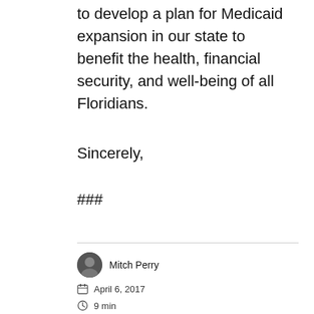to develop a plan for Medicaid expansion in our state to benefit the health, financial security, and well-being of all Floridians.
Sincerely,
###
Mitch Perry
April 6, 2017
9 min